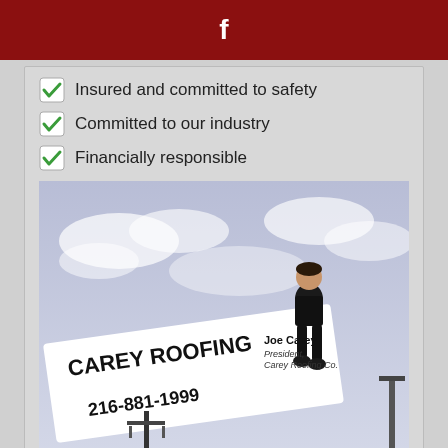f
Insured and committed to safety
Committed to our industry
Financially responsible
[Figure (photo): Joe Carey, President of Carey Roofing Co., sitting on a billboard sign that reads 'CAREY ROOFING 216-881-1999' against a cloudy sky background.]